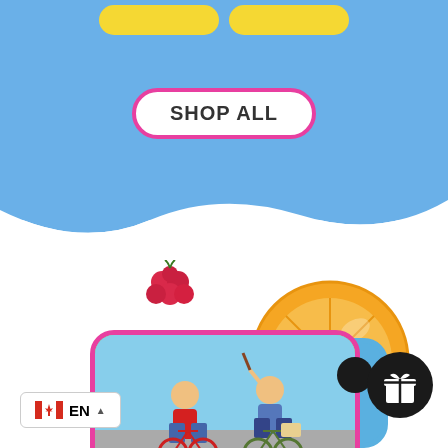[Figure (illustration): Light blue background top section with wave bottom edge, yellow pill-shaped buttons at top, shop all button in center, decorative raspberry and orange slice fruits, cycling photo with pink border, blue rounded card at bottom right, gift button, and language selector.]
SHOP ALL
[Figure (photo): Two women riding bicycles on a path outdoors, one wearing red top, one wearing denim jacket.]
[Figure (photo): Partial photo of two children, visible at bottom right in a blue rounded card.]
EN